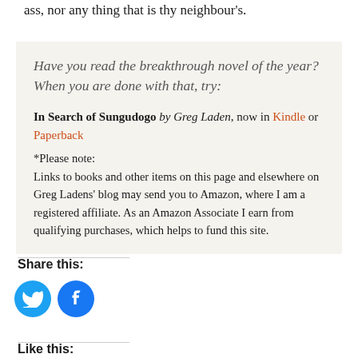ass, nor any thing that is thy neighbour's.
Have you read the breakthrough novel of the year? When you are done with that, try:
In Search of Sungudogo by Greg Laden, now in Kindle or Paperback
*Please note:
Links to books and other items on this page and elsewhere on Greg Ladens' blog may send you to Amazon, where I am a registered affiliate. As an Amazon Associate I earn from qualifying purchases, which helps to fund this site.
Share this:
[Figure (other): Twitter and Facebook share icon buttons (circular blue icons)]
Like this: